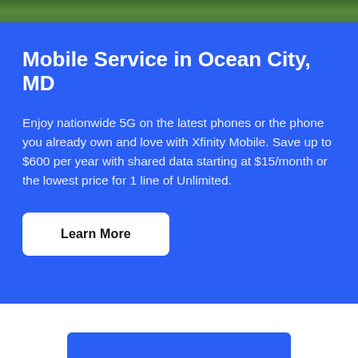[Figure (photo): Partial view of a green grassy outdoor scene, cropped at the top of the page]
Mobile Service in Ocean City, MD
Enjoy nationwide 5G on the latest phones or the phone you already own and love with Xfinity Mobile. Save up to $600 per year with shared data starting at $15/month or the lowest price for 1 line of Unlimited.
Learn More